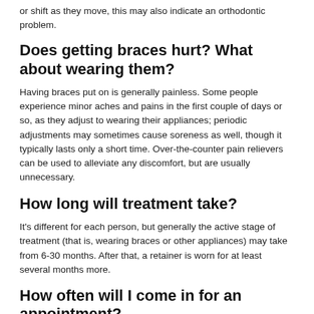or shift as they move, this may also indicate an orthodontic problem.
Does getting braces hurt? What about wearing them?
Having braces put on is generally painless. Some people experience minor aches and pains in the first couple of days or so, as they adjust to wearing their appliances; periodic adjustments may sometimes cause soreness as well, though it typically lasts only a short time. Over-the-counter pain relievers can be used to alleviate any discomfort, but are usually unnecessary.
How long will treatment take?
It's different for each person, but generally the active stage of treatment (that is, wearing braces or other appliances) may take from 6-30 months. After that, a retainer is worn for at least several months more.
How often will I come in for an appointment?